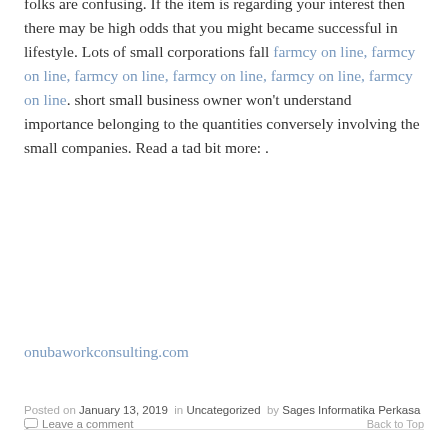folks are confusing. If the item is regarding your interest then there may be high odds that you might became successful in lifestyle. Lots of small corporations fall farmcy on line, farmcy on line, farmcy on line, farmcy on line, farmcy on line, farmcy on line. short small business owner won't understand importance belonging to the quantities conversely involving the small companies. Read a tad bit more: .
onubaworkconsulting.com
Posted on January 13, 2019 in Uncategorized by Sages Informatika Perkasa
Leave a comment
Back to Top